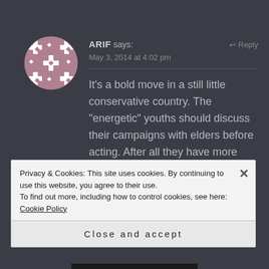[Figure (illustration): Avatar/profile image — a circular image with a mauve/purple geometric tile pattern on white background]
ARIF says:
↩ Reply
May 3, 2014 at 4:02 pm
It's a bold move in a still little conservative country. The "energetic" youths should discuss their campaigns with elders before acting. After all they have more wisdom than us .
Privacy & Cookies: This site uses cookies. By continuing to use this website, you agree to their use.
To find out more, including how to control cookies, see here: Cookie Policy
Close and accept